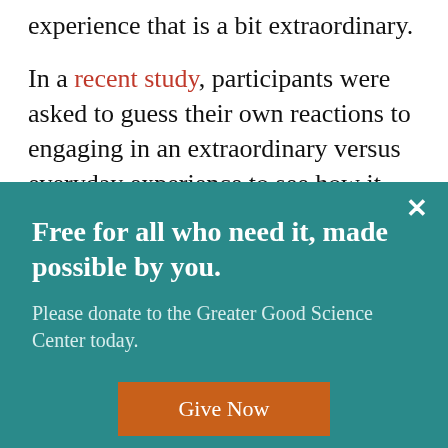experience that is a bit extraordinary.
In a recent study, participants were asked to guess their own reactions to engaging in an extraordinary versus everyday experience to see how it affected their sense of closeness to an
[Figure (other): Teal donation banner overlay with close button (×), headline 'Free for all who need it, made possible by you.', subtext 'Please donate to the Greater Good Science Center today.', and an orange 'Give Now' button.]